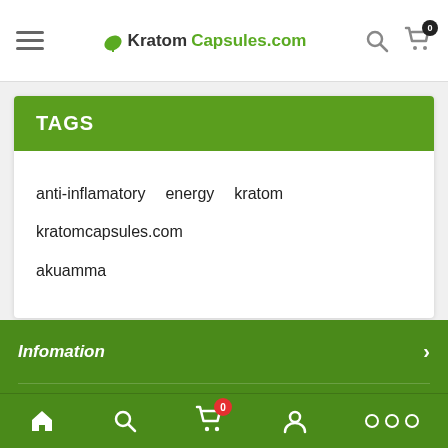KratomCapsules.com
TAGS
anti-inflamatory
energy
kratom
kratomcapsules.com
akuamma
Infomation
PROMOTION
CONTACT US
Home Search Cart Account More